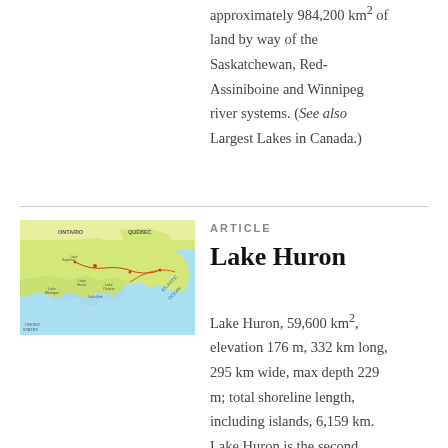approximately 984,200 km² of land by way of the Saskatchewan, Red-Assiniboine and Winnipeg river systems. (See also Largest Lakes in Canada.)
[Figure (map): Map of eastern Canada and the Great Lakes region showing Ontario, Quebec, and Atlantic Ocean with labeled lakes and rivers.]
ARTICLE
Lake Huron
Lake Huron, 59,600 km², elevation 176 m, 332 km long, 295 km wide, max depth 229 m; total shoreline length, including islands, 6,159 km. Lake Huron is the second largest of the Great Lakes and